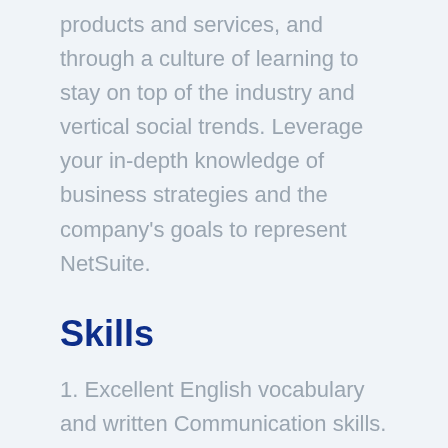products and services, and through a culture of learning to stay on top of the industry and vertical social trends. Leverage your in-depth knowledge of business strategies and the company’s goals to represent NetSuite.
Skills
1. Excellent English vocabulary and written Communication skills.
2. Strong Interpersonal and presentation skills are essential for this position.